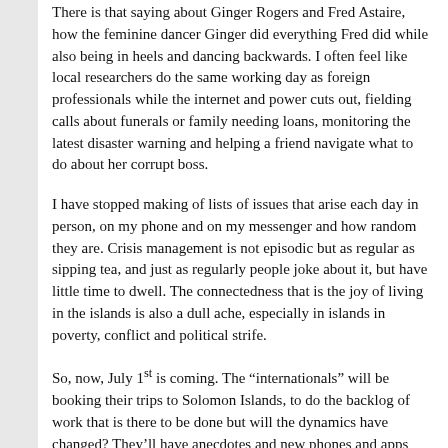There is that saying about Ginger Rogers and Fred Astaire, how the feminine dancer Ginger did everything Fred did while also being in heels and dancing backwards. I often feel like local researchers do the same working day as foreign professionals while the internet and power cuts out, fielding calls about funerals or family needing loans, monitoring the latest disaster warning and helping a friend navigate what to do about her corrupt boss.
I have stopped making of lists of issues that arise each day in person, on my phone and on my messenger and how random they are. Crisis management is not episodic but as regular as sipping tea, and just as regularly people joke about it, but have little time to dwell. The connectedness that is the joy of living in the islands is also a dull ache, especially in islands in poverty, conflict and political strife.
So, now, July 1st is coming. The “internationalls” will be booking their trips to Solomon Islands, to do the backlog of work that is there to be done but will the dynamics have changed? They’ll have anecdotes and new phones and apps that make me laugh at my untechnological self, I am looking forward to seeing some of them. I think of George Soros and the need for open societies, Solomon Islands being closed has narrowed politics for sure, and can often fuel dictatorships, maybe open borders will open new ideas and opportunities as well. Broiling in the conflict between...